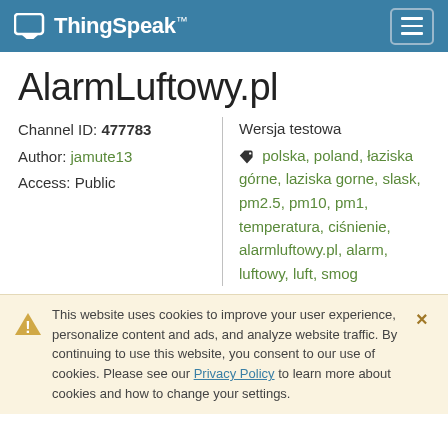ThingSpeak™
AlarmLuftowy.pl
Channel ID: 477783
Author: jamute13
Access: Public
Wersja testowa
🏷 polska, poland, łaziska górne, laziska gorne, slask, pm2.5, pm10, pm1, temperatura, ciśnienie, alarmluftowy.pl, alarm, luftowy, luft, smog
This website uses cookies to improve your user experience, personalize content and ads, and analyze website traffic. By continuing to use this website, you consent to our use of cookies. Please see our Privacy Policy to learn more about cookies and how to change your settings.